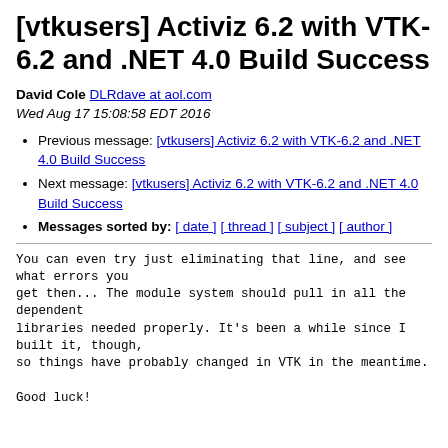[vtkusers] Activiz 6.2 with VTK-6.2 and .NET 4.0 Build Success
David Cole DLRdave at aol.com
Wed Aug 17 15:08:58 EDT 2016
Previous message: [vtkusers] Activiz 6.2 with VTK-6.2 and .NET 4.0 Build Success
Next message: [vtkusers] Activiz 6.2 with VTK-6.2 and .NET 4.0 Build Success
Messages sorted by: [ date ] [ thread ] [ subject ] [ author ]
You can even try just eliminating that line, and see what errors you
get then... The module system should pull in all the dependent
libraries needed properly. It's been a while since I built it, though,
so things have probably changed in VTK in the meantime.

Good luck!